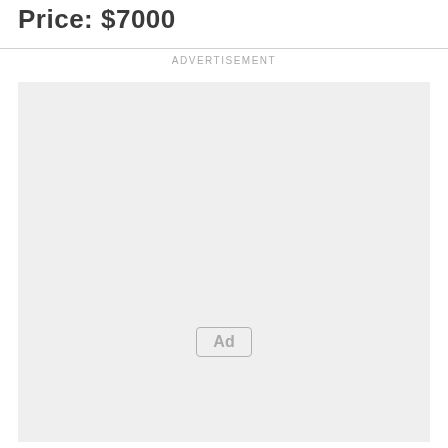Price: $7000
ADVERTISEMENT
[Figure (other): Advertisement placeholder box with 'Ad' button label in the center-lower area]